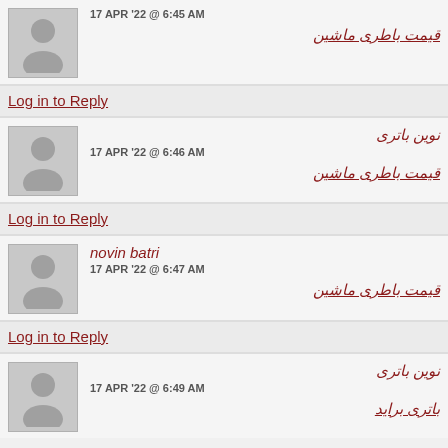17 APR '22 @ 6:45 AM
قیمت باطری ماشین
Log in to Reply
نوین باتری
17 APR '22 @ 6:46 AM
قیمت باطری ماشین
Log in to Reply
novin batri
17 APR '22 @ 6:47 AM
قیمت باطری ماشین
Log in to Reply
نوین باتری
17 APR '22 @ 6:49 AM
باتری براید